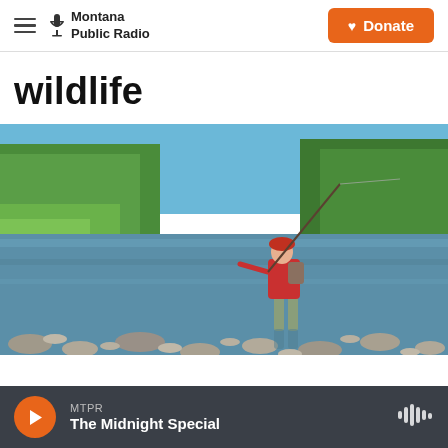Montana Public Radio | Donate
wildlife
[Figure (photo): Person fly fishing in a river, standing in the water surrounded by rocks. Lush green trees line the riverbanks in the background under a blue sky.]
MTPR | The Midnight Special